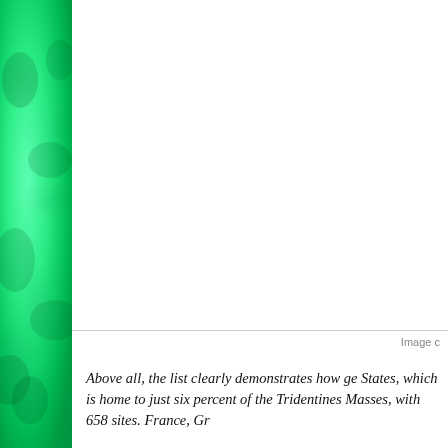[Figure (photo): Green textured image occupying the left sidebar of the page, with mottled green paint or watercolor texture.]
[Figure (photo): Large white image area in the upper right portion of the page, partially visible, with a caption 'Image c' at the bottom right.]
Image c
Above all, the list clearly demonstrates how ge States, which is home to just six percent of the Tridentines Masses, with 658 sites. France, Gr